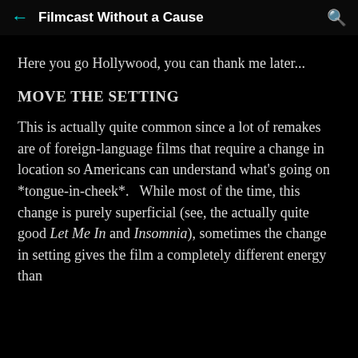Filmcast Without a Cause
Here you go Hollywood, you can thank me later...
MOVE THE SETTING
This is actually quite common since a lot of remakes are of foreign-language films that require a change in location so Americans can understand what's going on *tongue-in-cheek*.   While most of the time, this change is purely superficial (see, the actually quite good Let Me In and Insomnia), sometimes the change in setting gives the film a completely different energy than